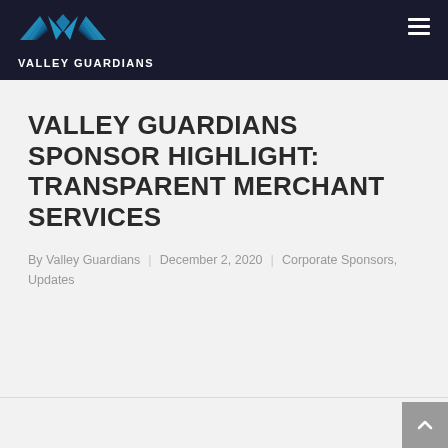VALLEY GUARDIANS
VALLEY GUARDIANS SPONSOR HIGHLIGHT: TRANSPARENT MERCHANT SERVICES
By Valley Guardians | December 2, 2020 | Corporate Sponsors, Updates